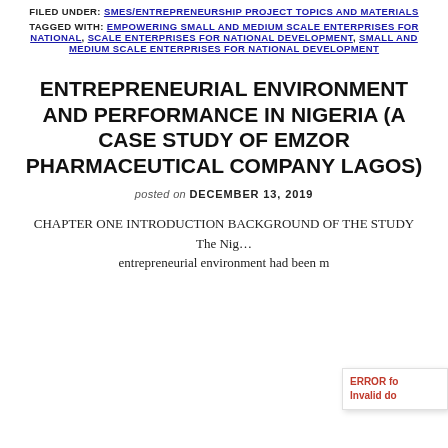FILED UNDER: SMES/ENTREPRENEURSHIP PROJECT TOPICS AND MATERIALS
TAGGED WITH: EMPOWERING SMALL AND MEDIUM SCALE ENTERPRISES FOR NATIONAL, SCALE ENTERPRISES FOR NATIONAL DEVELOPMENT, SMALL AND MEDIUM SCALE ENTERPRISES FOR NATIONAL DEVELOPMENT
ENTREPRENEURIAL ENVIRONMENT AND PERFORMANCE IN NIGERIA (A CASE STUDY OF EMZOR PHARMACEUTICAL COMPANY LAGOS)
posted on DECEMBER 13, 2019
CHAPTER ONE INTRODUCTION BACKGROUND OF THE STUDY The Nig… entrepreneurial environment had been m